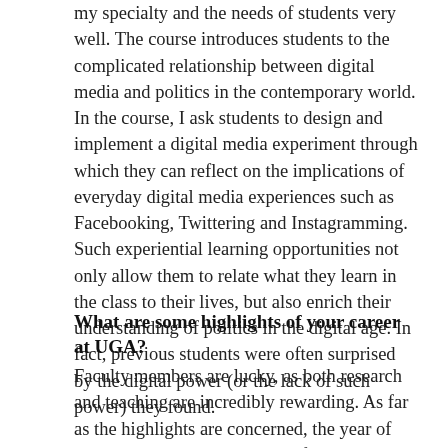my specialty and the needs of students very well. The course introduces students to the complicated relationship between digital media and politics in the contemporary world. In the course, I ask students to design and implement a digital media experiment through which they can reflect on the implications of everyday digital media experiences such as Facebooking, Twittering and Instagramming. Such experiential learning opportunities not only allow them to relate what they learn in the class to their lives, but also enrich their understanding of politics in the digital age. In fact, previous students were often surprised by the digital power (or the lack of such power) they found.
What are some highlights of your career at UGA?
Faculty members are lucky, as both research and teaching are incredibly rewarding. As far as the highlights are concerned, the year of 2018 has been nice to me. My first book, “Contesting Cyberspace in China,” came out in April through the Columbia University Press (it is available on